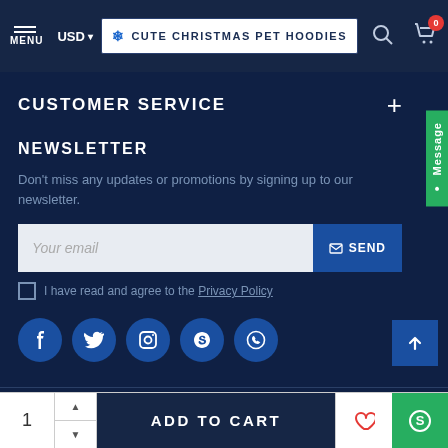MENU | USD | CUTE CHRISTMAS PET HOODIES
CUSTOMER SERVICE
NEWSLETTER
Don't miss any updates or promotions by signing up to our newsletter.
Your email | SEND
I have read and agree to the Privacy Policy
[Figure (other): Social media icons: Facebook, Twitter, Instagram, Skype, WhatsApp]
1 | ADD TO CART